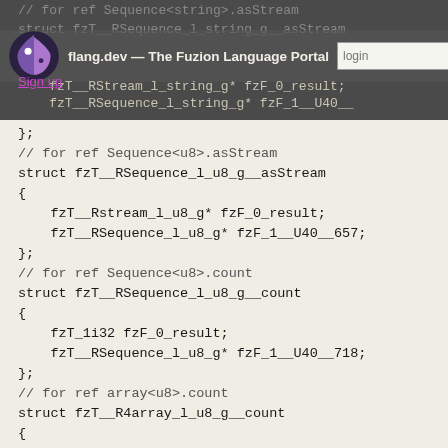flang.dev — The Fuzion Language Portal | login | password | Log in | Sign up
[Figure (screenshot): Website header overlay with logo, login form, and partially visible code]
};
// for ref Sequence<u8>.asStream
struct fzT__RSequence_l_u8_g__asStream
{
    fzT__Rstream_l_u8_g* fzF_0_result;
    fzT__RSequence_l_u8_g* fzF_1__U40__657;
};
// for ref Sequence<u8>.count
struct fzT__RSequence_l_u8_g__count
{
    fzT_1i32 fzF_0_result;
    fzT__RSequence_l_u8_g* fzF_1__U40__718;
};
// for ref array<u8>.count
struct fzT__R4array_l_u8_g__count
{
    fzT_1i32 fzF_0_result;
    fzT__R4array_l_u8_g* fzF_1__U40__7182;